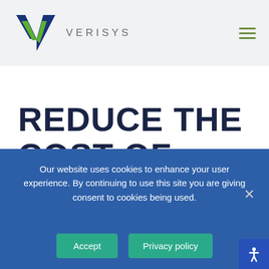[Figure (logo): Verisys logo: stylized V checkmark in blue and green, with VERISYS text in grey uppercase letters]
REDUCE THE COST OF MEDICAL
Our website uses cookies to enhance your user experience. By continuing to use this site you are giving consent to cookies being used.
Accept
Privacy policy